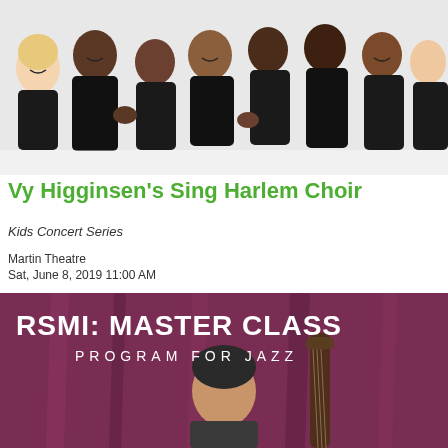[Figure (photo): Group photo of Vy Higginsen's Sing Harlem Choir members dressed in black, laughing and posing on a white background]
Vy Higginsen's Sing Harlem Choir
Kids Concert Series
Martin Theatre
Sat, June 8, 2019 11:00 AM
[Figure (photo): RSMI: Master Class Program for Jazz promotional image with a man holding a bass instrument against a purple/maroon curtain background, with bold white text overlay]